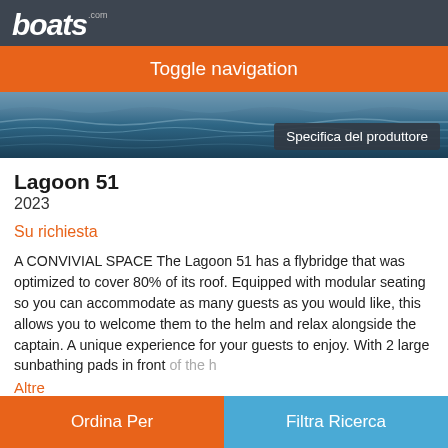boats.com
Toggle navigation
[Figure (photo): Ocean water surface with waves, blue-gray tones]
Specifica del produttore
Lagoon 51
2023
Su richiesta
A CONVIVIAL SPACE The Lagoon 51 has a flybridge that was optimized to cover 80% of its roof. Equipped with modular seating so you can accommodate as many guests as you would like, this allows you to welcome them to the helm and relax alongside the captain. A unique experience for your guests to enjoy. With 2 large sunbathing pads in front of the h
Altre
Ordina Per | Filtra Ricerca